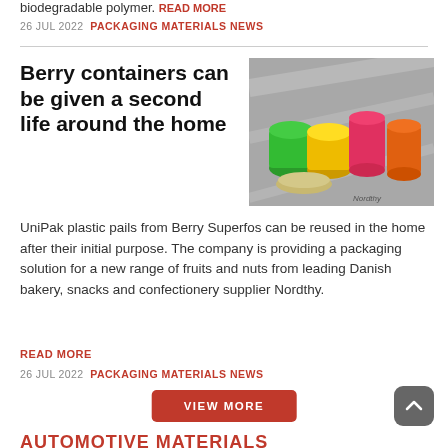biodegradable polymer. READ MORE
26 JUL 2022   PACKAGING MATERIALS NEWS
Berry containers can be given a second life around the home
[Figure (photo): Colorful plastic pails/containers for fruits and nuts, labeled Nordthy]
UniPak plastic pails from Berry Superfos can be reused in the home after their initial purpose. The company is providing a packaging solution for a new range of fruits and nuts from leading Danish bakery, snacks and confectionery supplier Nordthy.
READ MORE
26 JUL 2022   PACKAGING MATERIALS NEWS
VIEW MORE
AUTOMOTIVE MATERIALS